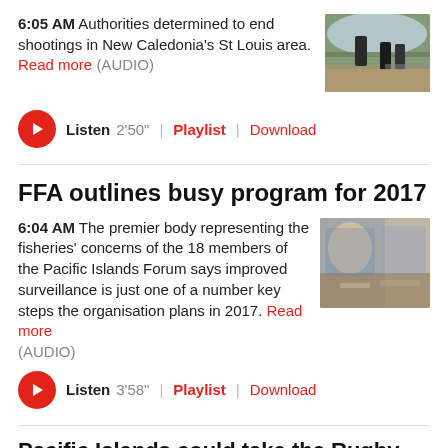6:05 AM Authorities determined to end shootings in New Caledonia's St Louis area. Read more (AUDIO)
[Figure (photo): Police officers on a road in New Caledonia's St Louis area]
Listen 2'50" | Playlist | Download
FFA outlines busy program for 2017
6:04 AM The premier body representing the fisheries' concerns of the 18 members of the Pacific Islands Forum says improved surveillance is just one of a number key steps the organisation plans in 2017. Read more (AUDIO)
[Figure (photo): Two men in patterned shirts at a meeting, related to Pacific Islands Forum fisheries]
Listen 3'58" | Playlist | Download
Pacific Islands could take the Rugby...